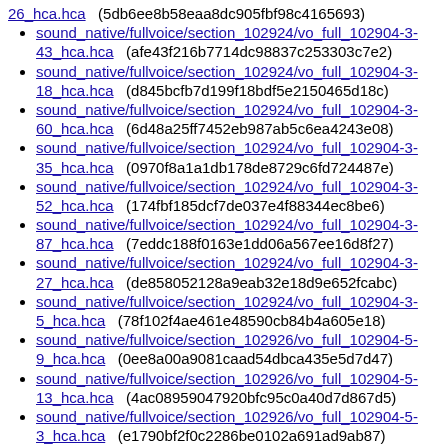26_hca.hca   (5db6ee8b58eaa8dc905fbf98c4165693)
sound_native/fullvoice/section_102924/vo_full_102904-3-43_hca.hca   (afe43f216b7714dc98837c253303c7e2)
sound_native/fullvoice/section_102924/vo_full_102904-3-18_hca.hca   (d845bcfb7d199f18bdf5e2150465d18c)
sound_native/fullvoice/section_102924/vo_full_102904-3-60_hca.hca   (6d48a25ff7452eb987ab5c6ea4243e08)
sound_native/fullvoice/section_102924/vo_full_102904-3-35_hca.hca   (0970f8a1a1db178de8729c6fd724487e)
sound_native/fullvoice/section_102924/vo_full_102904-3-52_hca.hca   (174fbf185dcf7de037e4f88344ec8be6)
sound_native/fullvoice/section_102924/vo_full_102904-3-87_hca.hca   (7eddc188f0163e1dd06a567ee16d8f27)
sound_native/fullvoice/section_102924/vo_full_102904-3-27_hca.hca   (de858052128a9eab32e18d9e652fcabc)
sound_native/fullvoice/section_102924/vo_full_102904-3-5_hca.hca   (78f102f4ae461e48590cb84b4a605e18)
sound_native/fullvoice/section_102926/vo_full_102904-5-9_hca.hca   (0ee8a00a9081caad54dbca435e5d7d47)
sound_native/fullvoice/section_102926/vo_full_102904-5-13_hca.hca   (4ac08959047920bfc95c0a40d7d867d5)
sound_native/fullvoice/section_102926/vo_full_102904-5-3_hca.hca   (e1790bf2f0c2286be0102a691ad9ab87)
sound_native/fullvoice/section_102926/vo_full_102904-5-19_hca.hca   (b2d6beb9bd0b3d19fd6eabff8b862fce)